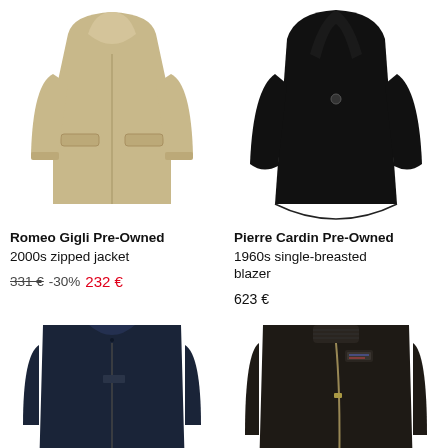[Figure (photo): Beige/tan zipped jacket from Romeo Gigli Pre-Owned, 2000s style, on white background]
[Figure (photo): Black single-breasted blazer from Pierre Cardin Pre-Owned, 1960s style, on white background]
Romeo Gigli Pre-Owned
2000s zipped jacket
331 € -30% 232 €
Pierre Cardin Pre-Owned
1960s single-breasted blazer
623 €
[Figure (photo): Navy blue zippered jacket (bottom left), partial view]
[Figure (photo): Dark brown/black leather bomber jacket (bottom right), partial view]